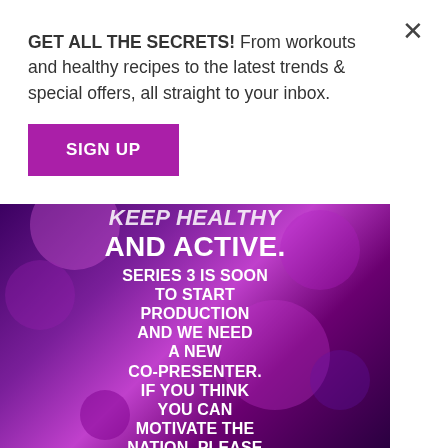GET ALL THE SECRETS! From workouts and healthy recipes to the latest trends & special offers, all straight to your inbox.
[Figure (other): Purple/magenta bokeh background with white bold text overlay: 'KEEP HEALTHY AND ACTIVE. SERIES 3 IS SOON TO START PRODUCTION AND WE NEED A NEW CO-PRESENTER. IF YOU THINK YOU CAN MOTIVATE THE NATION, PLEASE...']